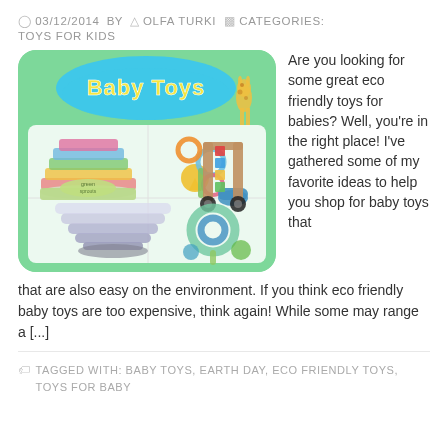03/12/2014  BY  OLFA TURKI  CATEGORIES: TOYS FOR KIDS
[Figure (photo): Baby Toys product image showing eco-friendly toys including stacking cups, teething rings, a walker, and other colorful baby toys on a green background with 'Baby Toys' title bubble.]
Are you looking for some great eco friendly toys for babies? Well, you're in the right place! I've gathered some of my favorite ideas to help you shop for baby toys that are also easy on the environment. If you think eco friendly baby toys are too expensive, think again! While some may range a [...]
TAGGED WITH: BABY TOYS, EARTH DAY, ECO FRIENDLY TOYS, TOYS FOR BABY